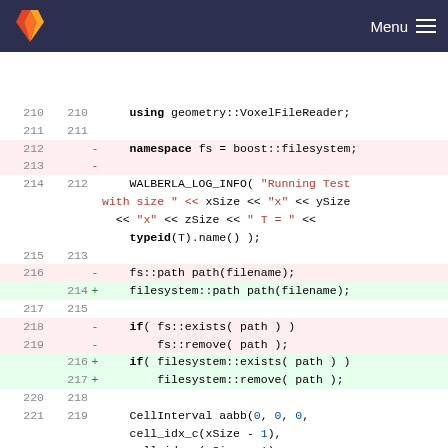Menu
[Figure (screenshot): GitLab-style code diff view showing C++ source changes. Lines 210-221 (old) and 210-219 (new) are shown. Removed lines (pink) include namespace fs = boost::filesystem and fs:: calls. Added lines (green) use filesystem:: equivalents. Context lines show using geometry::VoxelFileReader, WALBERLA_LOG_INFO call, CellInterval aabb construction.]